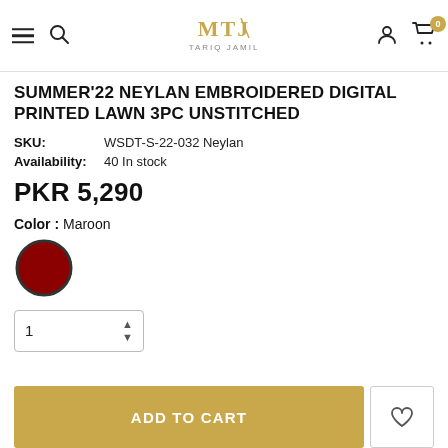MTJ Tariq Jamil — navigation header with menu, search, logo, account, cart (0)
SUMMER'22 NEYLAN EMBROIDERED DIGITAL PRINTED LAWN 3PC UNSTITCHED
SKU: WSDT-S-22-032 Neylan
Availability: 40 In stock
PKR 5,290
Color : Maroon
[Figure (illustration): Maroon circular color swatch with dark border]
Quantity selector showing 1 with up/down arrows
ADD TO CART button and wishlist heart button